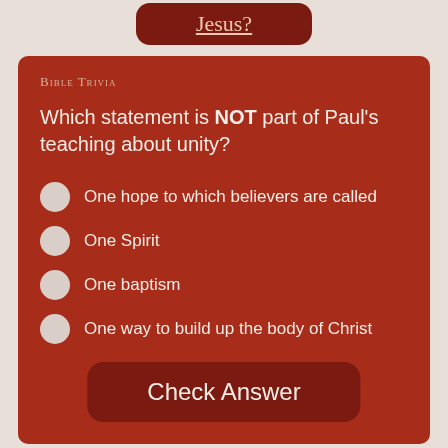[Figure (screenshot): Top dark red button with underlined text 'Jesus?' in light pinkish font]
Bible Trivia
Which statement is NOT part of Paul's teaching about unity?
One hope to which believers are called
One Spirit
One baptism
One way to build up the body of Christ
Check Answer